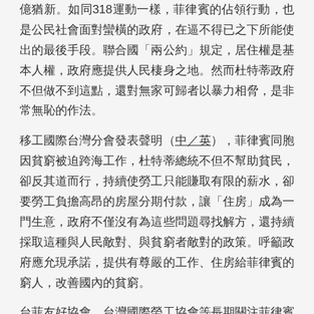億猶新。如同318運動一樣，菲律賓的佔領行動，也是公民社會面對蠻橫的政府，在逼不得已之下所能使出的最後手段。聯合國「兩公約」規定，居住權是基本人權，政府應提供人民棲身之地。然而杜特蒂政府不但做不到這點，還對無家可歸者以暴力相脅，是非常無恥的作法。
移工國際台灣分會發表聲明（中／英），菲律賓同胞因貧窮被迫跨海工作，杜特蒂總統不但不幫助貧民，卻反其道而行，持續使勞工只能賺取有限的薪水，卻要勞工負擔高昂的房屋分期付款，讓「住房」成為一門生意，政府不僅沒有為這些問題尋找解方，還持續採取這種與人民敵對、與貧窮者敵對的政策。呼籲政府應允現承諾，提供有尊嚴的工作、住房給菲律賓的窮人，改善國內的貧窮。
台菲友好協會、台灣國際勞工協會等長期關注菲律賓在台移工與菲律賓議題的組織，以及長期關注人權議題的人權公約施行監督聯盟也批評，杜特蒂上台以來發動以